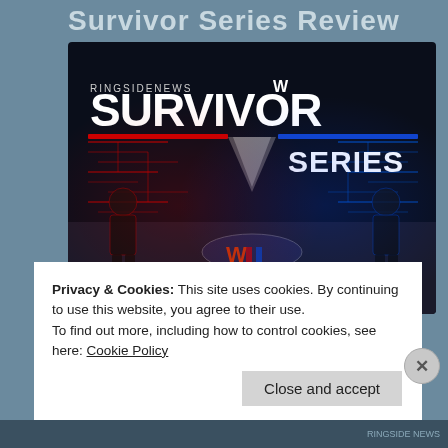Survivor Series Review
[Figure (photo): WWE Survivor Series promotional image from Ringside News showing the Survivor Series logo with red and blue neon circuit board aesthetics, two silhouetted figures on either side, and the WWE logo in the center foreground.]
Privacy & Cookies: This site uses cookies. By continuing to use this website, you agree to their use.
To find out more, including how to control cookies, see here: Cookie Policy
Close and accept